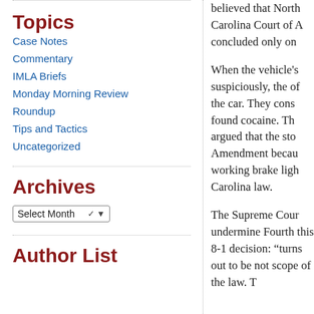Topics
Case Notes
Commentary
IMLA Briefs
Monday Morning Review
Roundup
Tips and Tactics
Uncategorized
Archives
Select Month
Author List
believed that North Carolina Court of A concluded only on
When the vehicle's suspiciously, the of the car. They cons found cocaine. Th argued that the sto Amendment becau working brake ligh Carolina law.
The Supreme Cour undermine Fourth this 8-1 decision: “ turns out to be not scope of the law. T